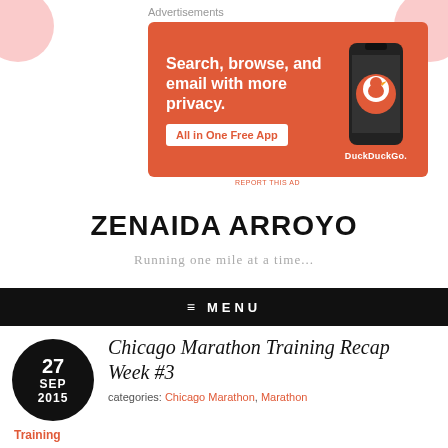Advertisements
[Figure (illustration): DuckDuckGo advertisement banner with orange background. Text reads 'Search, browse, and email with more privacy. All in One Free App' with a DuckDuckGo logo and phone graphic.]
REPORT THIS AD
ZENAIDA ARROYO
Running one mile at a time...
≡  MENU
27 SEP 2015
Chicago Marathon Training Recap Week #3
categories: Chicago Marathon, Marathon
Training